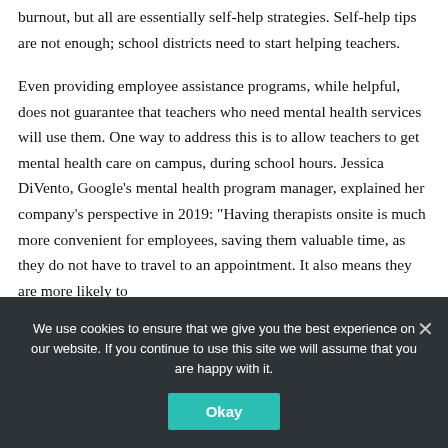burnout, but all are essentially self-help strategies. Self-help tips are not enough; school districts need to start helping teachers.
Even providing employee assistance programs, while helpful, does not guarantee that teachers who need mental health services will use them. One way to address this is to allow teachers to get mental health care on campus, during school hours. Jessica DiVento, Google’s mental health program manager, explained her company’s perspective in 2019: “Having therapists onsite is much more convenient for employees, saving them valuable time, as they do not have to travel to an appointment. It also means they are more likely to
We use cookies to ensure that we give you the best experience on our website. If you continue to use this site we will assume that you are happy with it.